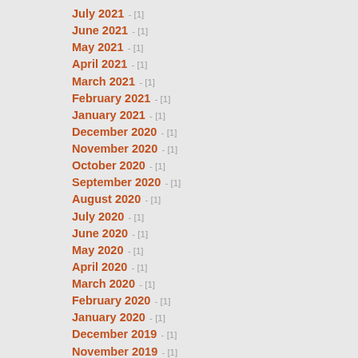July 2021 - [1]
June 2021 - [1]
May 2021 - [1]
April 2021 - [1]
March 2021 - [1]
February 2021 - [1]
January 2021 - [1]
December 2020 - [1]
November 2020 - [1]
October 2020 - [1]
September 2020 - [1]
August 2020 - [1]
July 2020 - [1]
June 2020 - [1]
May 2020 - [1]
April 2020 - [1]
March 2020 - [1]
February 2020 - [1]
January 2020 - [1]
December 2019 - [1]
November 2019 - [1]
October 2019 - [1]
September 2019 - [1]
August 2019 - [1]
July 2019 - [1]
June 2019 - [1]
May 2019 - [1]
April 2019 - [1]
March 2019 - [1]